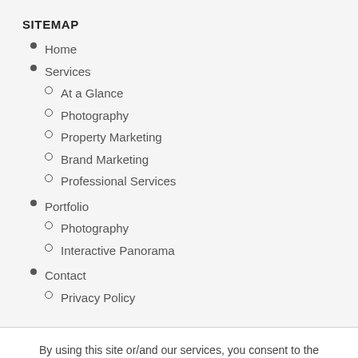SITEMAP
Home
Services
At a Glance
Photography
Property Marketing
Brand Marketing
Professional Services
Portfolio
Photography
Interactive Panorama
Contact
Privacy Policy
By using this site or/and our services, you consent to the Processing of your Personal Data as described in this Privacy Policy.
Accept
Privacy Policy